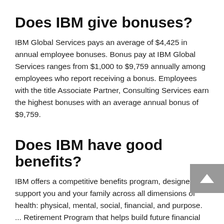Does IBM give bonuses?
IBM Global Services pays an average of $4,425 in annual employee bonuses. Bonus pay at IBM Global Services ranges from $1,000 to $9,759 annually among employees who report receiving a bonus. Employees with the title Associate Partner, Consulting Services earn the highest bonuses with an average annual bonus of $9,759.
Does IBM have good benefits?
IBM offers a competitive benefits program, designed to support you and your family across all dimensions of health: physical, mental, social, financial, and purpose. ... Retirement Program that helps build future financial security through a leading-edge